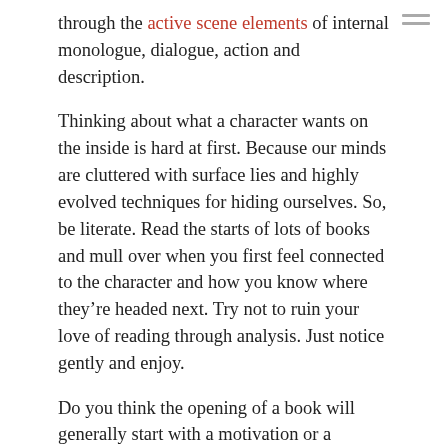through the active scene elements of internal monologue, dialogue, action and description.

Thinking about what a character wants on the inside is hard at first. Because our minds are cluttered with surface lies and highly evolved techniques for hiding ourselves. So, be literate. Read the starts of lots of books and mull over when you first feel connected to the character and how you know where they're headed next. Try not to ruin your love of reading through analysis. Just notice gently and enjoy.

Do you think the opening of a book will generally start with a motivation or a reaction? What do you notice in your reading?